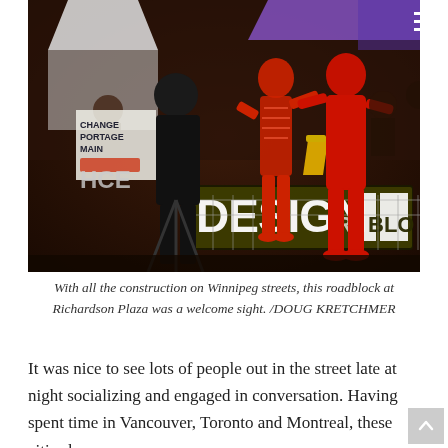[Figure (photo): Nighttime outdoor event photo showing two red human-shaped figures/mannequins standing in front of a glowing 'DESIGN ROADBLOCK' sign. People are gathered in the background under white tents. The scene is lit dramatically with red and yellow lighting.]
With all the construction on Winnipeg streets, this roadblock at Richardson Plaza was a welcome sight. /DOUG KRETCHMER
It was nice to see lots of people out in the street late at night socializing and engaged in conversation. Having spent time in Vancouver, Toronto and Montreal, these cities have